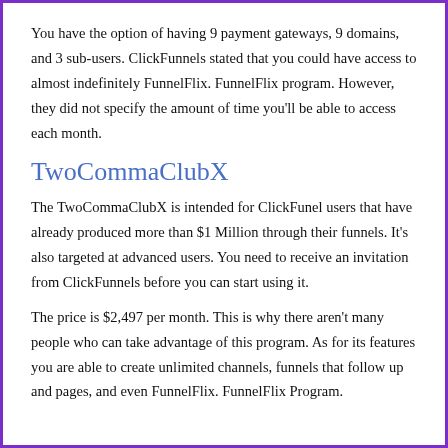You have the option of having 9 payment gateways, 9 domains, and 3 sub-users. ClickFunnels stated that you could have access to almost indefinitely FunnelFlix. FunnelFlix program. However, they did not specify the amount of time you'll be able to access each month.
TwoCommaClubX
The TwoCommaClubX is intended for ClickFunel users that have already produced more than $1 Million through their funnels. It's also targeted at advanced users. You need to receive an invitation from ClickFunnels before you can start using it.
The price is $2,497 per month. This is why there aren't many people who can take advantage of this program. As for its features you are able to create unlimited channels, funnels that follow up and pages, and even FunnelFlix. FunnelFlix Program.